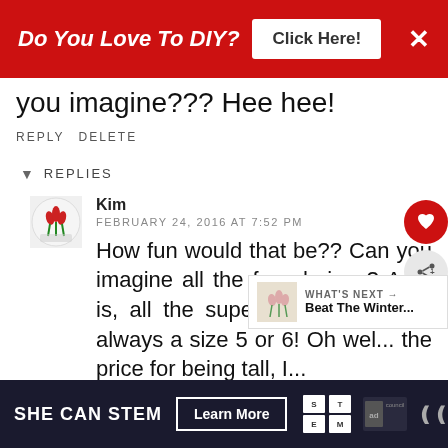[Figure (screenshot): Red advertisement banner: 'Do You Love To DIY?' with 'Click Here!' button and X close button]
you imagine??? Hee hee!
REPLY DELETE
▾ REPLIES
Kim
FEBRUARY 24, 2016 AT 7:52 PM
How fun would that be?? Can you imagine all the fun choices? As it is, all the super fun choices are always a size 5 or 6! Oh wel... the price for being tall, I...
[Figure (screenshot): Bottom advertisement banner: SHE CAN STEM with Learn More button, STEM logo, Ad Council logo, and WW logo]